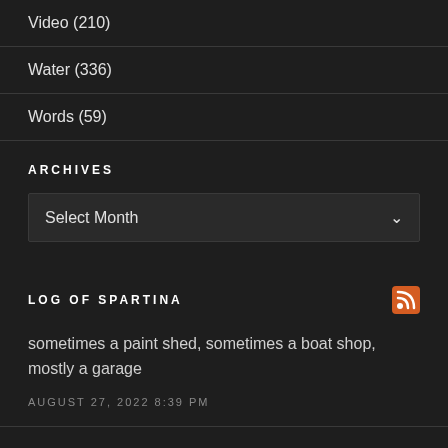Video (210)
Water (336)
Words (59)
ARCHIVES
Select Month
LOG OF SPARTINA
sometimes a paint shed, sometimes a boat shop, mostly a garage
AUGUST 27, 2022 8:39 PM